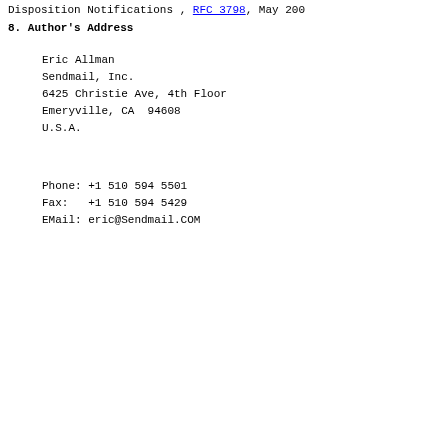Disposition Notifications , RFC 3798, May 200
8.  Author's Address
Eric Allman
Sendmail, Inc.
6425 Christie Ave, 4th Floor
Emeryville, CA  94608
U.S.A.
Phone: +1 510 594 5501
Fax:   +1 510 594 5429
EMail: eric@Sendmail.COM